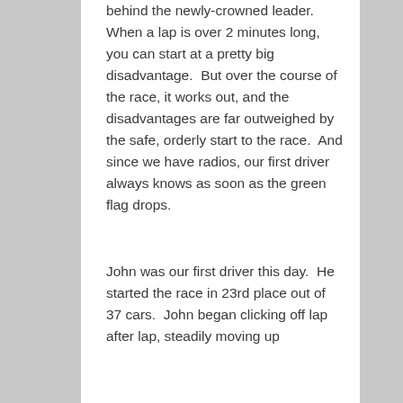behind the newly-crowned leader.  When a lap is over 2 minutes long, you can start at a pretty big disadvantage.  But over the course of the race, it works out, and the disadvantages are far outweighed by the safe, orderly start to the race.  And since we have radios, our first driver always knows as soon as the green flag drops.
John was our first driver this day.  He started the race in 23rd place out of 37 cars.  John began clicking off lap after lap, steadily moving up